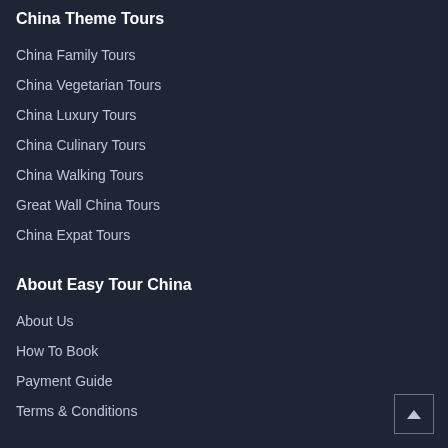China Theme Tours
China Family Tours
China Vegetarian Tours
China Luxury Tours
China Culinary Tours
China Walking Tours
Great Wall China Tours
China Expat Tours
About Easy Tour China
About Us
How To Book
Payment Guide
Terms & Conditions